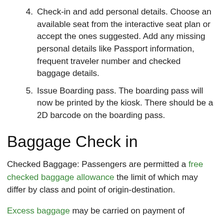4. Check-in and add personal details. Choose an available seat from the interactive seat plan or accept the ones suggested. Add any missing personal details like Passport information, frequent traveler number and checked baggage details.
5. Issue Boarding pass. The boarding pass will now be printed by the kiosk. There should be a 2D barcode on the boarding pass.
Baggage Check in
Checked Baggage: Passengers are permitted a free checked baggage allowance the limit of which may differ by class and point of origin-destination.
Excess baggage may be carried on payment of